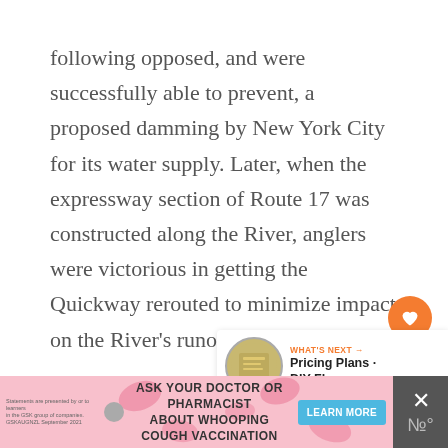following opposed, and were successfully able to prevent, a proposed damming by New York City for its water supply. Later, when the expressway section of Route 17 was constructed along the River, anglers were victorious in getting the Quickway rerouted to minimize impact on the River's runoff and stream flows.
[Figure (other): Orange circular like/heart button with count of 19, and a share button below it]
[Figure (other): What's Next widget showing a thumbnail image and text: 'WHAT'S NEXT → Pricing Plans · DIY Fly...']
[Figure (other): Advertisement banner for whooping cough vaccination with text: 'ASK YOUR DOCTOR OR PHARMACIST ABOUT WHOOPING COUGH VACCINATION' and a 'LEARN MORE' button]